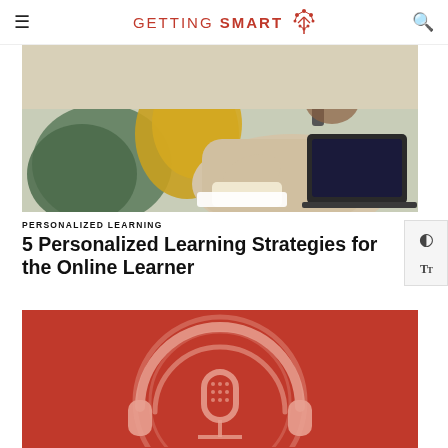GETTING SMART
[Figure (photo): Person sitting on a couch with green and yellow pillows, writing in a notebook with a laptop nearby, wearing a beige sweater.]
PERSONALIZED LEARNING
5 Personalized Learning Strategies for the Online Learner
[Figure (illustration): Red background graphic with a podcast microphone icon overlaid with headphones, in a light pinkish-white illustrated style.]